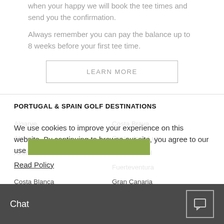when your happy we will book the tee times and send you the confirmation.
Always remember you can pay the balance up to 8 weeks before your first tee time.
LEARN MORE
PORTUGAL & SPAIN GOLF DESTINATIONS
Algarve
Almeria
Azores
Cadiz
Costa Blanca
Costa Brava
Costa de la Luz
Costa del Sol
Fuerteventura
Gran Canaria
We use cookies to improve your experience on this website. By continuing to browse our site, you agree to our use of cookies.
Read Policy
Chat